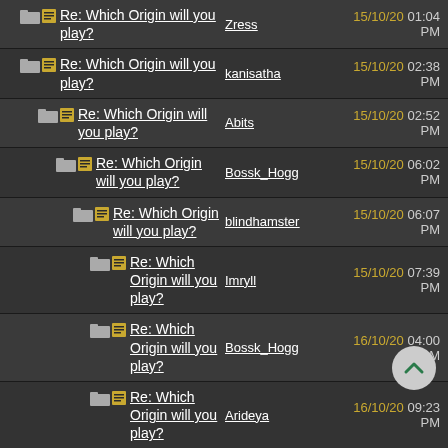Re: Which Origin will you play? | Zress | 15/10/20 01:04 PM
Re: Which Origin will you play? | kanisatha | 15/10/20 02:38 PM
Re: Which Origin will you play? | Abits | 15/10/20 02:52 PM
Re: Which Origin will you play? | Bossk_Hogg | 15/10/20 06:02 PM
Re: Which Origin will you play? | blindhamster | 15/10/20 06:07 PM
Re: Which Origin will you play? | Imryll | 15/10/20 07:39 PM
Re: Which Origin will you play? | Bossk_Hogg | 16/10/20 04:00 PM
Re: Which Origin will you play? | Arideya | 16/10/20 09:23 PM
Re: Which Origin will you play? | PrivateRaccoon | 17/10/20 08:09 AM